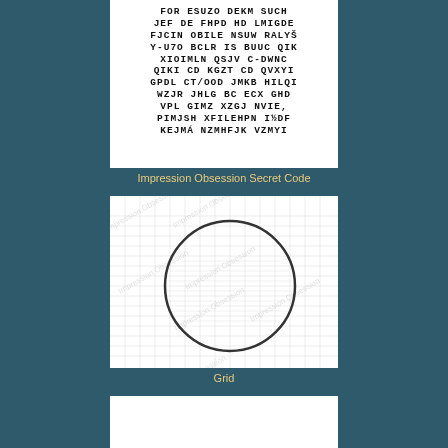[Figure (illustration): Impression Obsession Secret Code stamp image showing rows of random capital letters in a bold typeface on white background]
Impression Obsession Secret Code
[Figure (illustration): Impression Obsession Grid stamp image showing a crosshatch/grid texture pattern with a large circle impression overlaid, watermark text repeated diagonally across the background]
Grid
[Figure (illustration): Partial view of another stamp image at bottom of page]